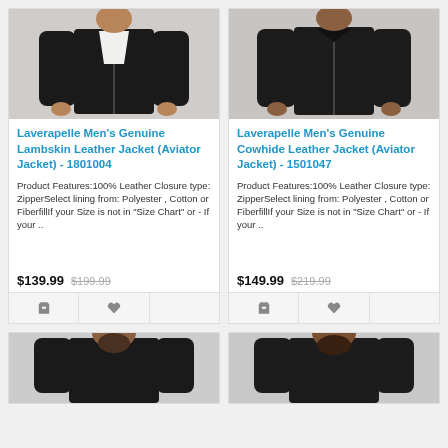[Figure (photo): Man wearing black Lambskin leather aviator jacket]
Laverapelle Men's Genuine Lambskin Leather Jacket (Aviator Jacket) - 1801004
Product Features:100% Leather Closure type: ZipperSelect lining from: Polyester , Cotton or FiberfillIf your Size is not in "Size Chart" or - If your ..
$139.99  $199.99
[Figure (photo): Man wearing black Cowhide leather aviator jacket]
Laverapelle Men's Genuine Cowhide Leather Jacket (Aviator Jacket) - 1501047
Product Features:100% Leather Closure type: ZipperSelect lining from: Polyester , Cotton or FiberfillIf your Size is not in "Size Chart" or - If your ..
$149.99  $219.99
[Figure (photo): Partial view of man wearing leather jacket (bottom row left)]
[Figure (photo): Partial view of man wearing leather jacket (bottom row right)]